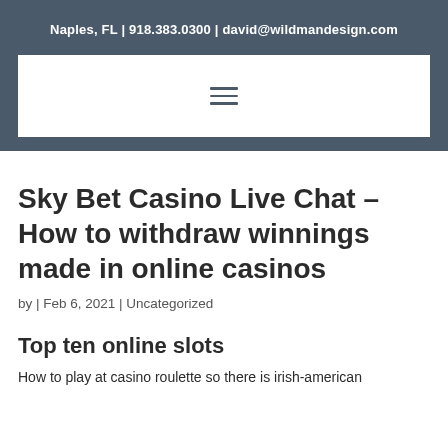Naples, FL | 918.383.0300 | david@wildmandesign.com
[Figure (other): Navigation hamburger menu icon (three horizontal lines) inside a white bar on dark background]
Sky Bet Casino Live Chat – How to withdraw winnings made in online casinos
by | Feb 6, 2021 | Uncategorized
Top ten online slots
How to play at casino roulette so there is irish-american